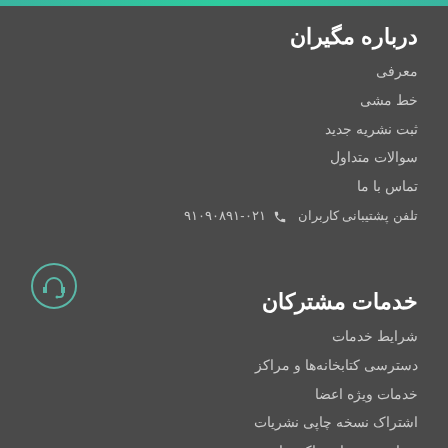درباره مگیران
معرفی
خط مشی
ثبت نشریه جدید
سوالات متداول
تماس با ما
تلفن پشتیبانی کاربران 📞 ۰۲۱-۹۱۰۹۰۸۹۱
[Figure (illustration): Headset icon in teal/green color]
خدمات مشترکان
شرایط خدمات
دسترسی کتابخانه‌ها و مراکز
خدمات ویژه اعضا
اشتراک نسخه چاپی نشریات
پرداخت حق اشتراک سایت
راهنمای سامانه نویسندگان